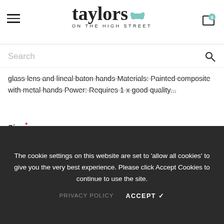taylors ON THE HIGH STREET — navigation header with hamburger menu and cart icon (0 items)
Search
glass lens and lineal baton hands Materials: Painted composite with metal hands Power: Requires 1 x good quality...
Size *
30" (76cm) — dropdown selected value
Colour *
Brass — dropdown selected value
The cookie settings on this website are set to 'allow all cookies' to give you the very best experience. Please click Accept Cookies to continue to use the site.
PRIVACY POLICY   ACCEPT ✓